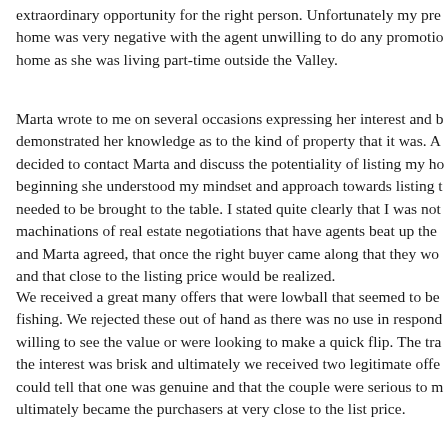extraordinary opportunity for the right person. Unfortunately my pre home was very negative with the agent unwilling to do any promotio home as she was living part-time outside the Valley.
Marta wrote to me on several occasions expressing her interest and b demonstrated her knowledge as to the kind of property that it was. A decided to contact Marta and discuss the potentiality of listing my ho beginning she understood my mindset and approach towards listing t needed to be brought to the table. I stated quite clearly that I was not machinations of real estate negotiations that have agents beat up the and Marta agreed, that once the right buyer came along that they wo and that close to the listing price would be realized.
We received a great many offers that were lowball that seemed to be fishing. We rejected these out of hand as there was no use in respond willing to see the value or were looking to make a quick flip. The tra the interest was brisk and ultimately we received two legitimate offe could tell that one was genuine and that the couple were serious to m ultimately became the purchasers at very close to the list price.